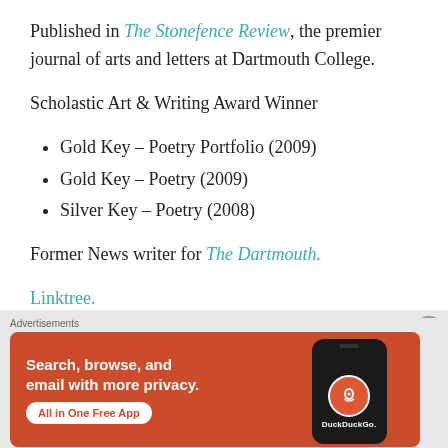Published in The Stonefence Review, the premier journal of arts and letters at Dartmouth College.
Scholastic Art & Writing Award Winner
Gold Key – Poetry Portfolio (2009)
Gold Key – Poetry (2009)
Silver Key – Poetry (2008)
Former News writer for The Dartmouth.
Linktree.
[Figure (other): DuckDuckGo advertisement banner: 'Search, browse, and email with more privacy. All in One Free App' with phone mockup showing DuckDuckGo logo]